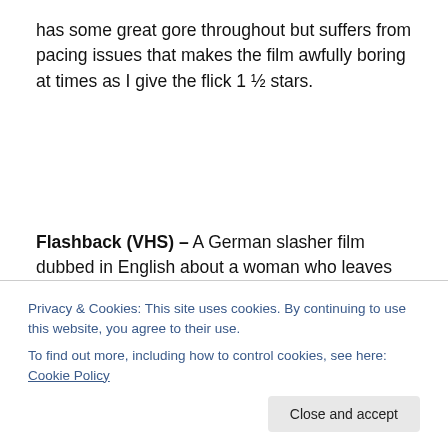has some great gore throughout but suffers from pacing issues that makes the film awfully boring at times as I give the flick 1 ½ stars.
Flashback (VHS) – A German slasher film dubbed in English about a woman who leaves an asylum after ten years to be a French tutor for some rich kids. When the rich kids play a bad prank on her, she snaps and begins slaying everyone involved. Worth watching the flick for the more reason for a body goes through a large chipper! I
Privacy & Cookies: This site uses cookies. By continuing to use this website, you agree to their use.
To find out more, including how to control cookies, see here: Cookie Policy